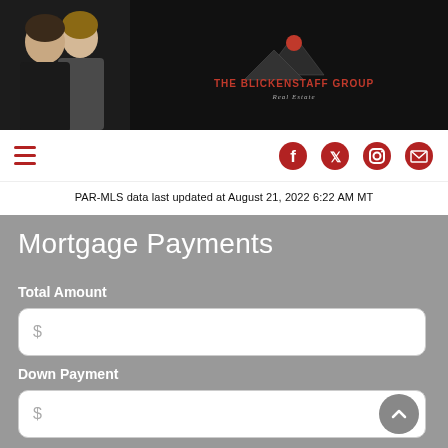[Figure (photo): Header banner with black background showing a man and woman (real estate agents) on the left, and The Blickenstaff Group Real Estate logo (mountain silhouette with sun, red text) in the center]
Hamburger menu icon and social media icons: Facebook, Twitter, Instagram, Email
PAR-MLS data last updated at August 21, 2022 6:22 AM MT
Mortgage Payments
Total Amount
$
Down Payment
$